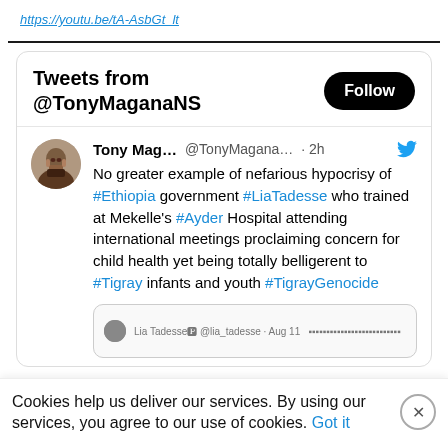https://youtu.be/tA-AsbGt_lt
[Figure (screenshot): Twitter widget showing tweets from @TonyMaganaNS with a Follow button, and a tweet by Tony Mag... @TonyMagana... 2h about #Ethiopia government #LiaTadesse trained at Mekelle's #Ayder Hospital attending international meetings proclaiming concern for child health yet being totally belligerent to #Tigray infants and youth #TigrayGenocide]
Cookies help us deliver our services. By using our services, you agree to our use of cookies. Got it